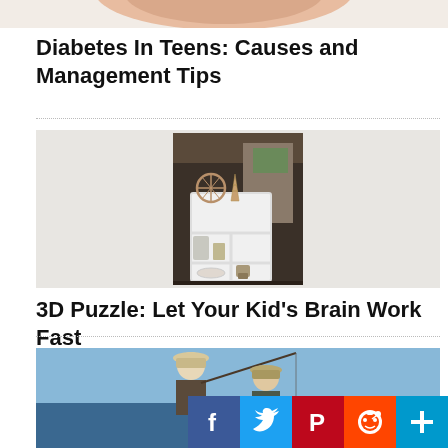[Figure (photo): Partial view of a photo at top, showing skin/body tones in peach and beige colors, cropped at top of page]
Diabetes In Teens: Causes and Management Tips
[Figure (photo): Photo of a white bookshelf/display cabinet with 3D puzzle models on top and inside, set in what appears to be a mall or store background]
3D Puzzle: Let Your Kid’s Brain Work Fast
[Figure (photo): Photo of children fishing near water, wearing hats, partially visible at bottom of page]
[Figure (infographic): Social sharing buttons: Facebook (blue f), Twitter (blue bird), Pinterest (dark red P), Reddit (orange alien), More (blue plus sign)]